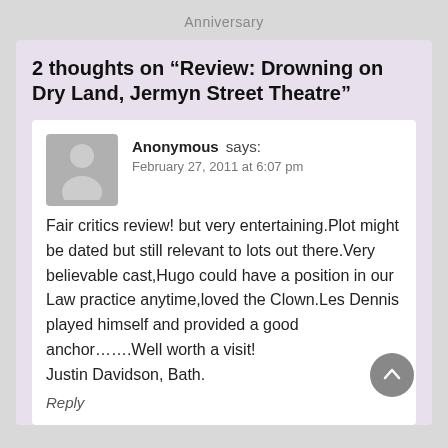Anniversary
2 thoughts on “Review: Drowning on Dry Land, Jermyn Street Theatre”
Anonymous says:
February 27, 2011 at 6:07 pm

Fair critics review! but very entertaining.Plot might be dated but still relevant to lots out there.Very believable cast,Hugo could have a position in our Law practice anytime,loved the Clown.Les Dennis played himself and provided a good anchor…….Well worth a visit!
Justin Davidson, Bath.
Reply